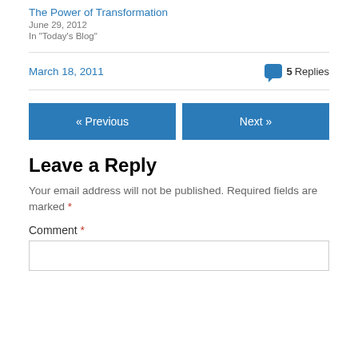The Power of Transformation
June 29, 2012
In "Today's Blog"
March 18, 2011   💬 5 Replies
« Previous    Next »
Leave a Reply
Your email address will not be published. Required fields are marked *
Comment *